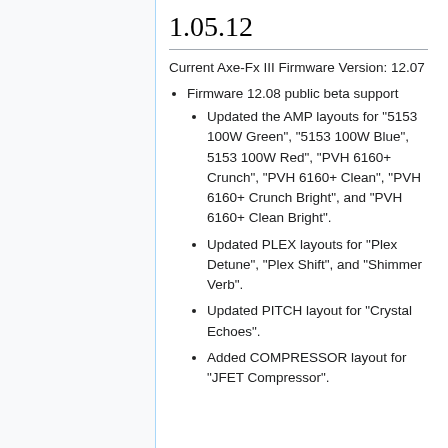1.05.12
Current Axe-Fx III Firmware Version: 12.07
Firmware 12.08 public beta support
Updated the AMP layouts for "5153 100W Green", "5153 100W Blue", 5153 100W Red", "PVH 6160+ Crunch", "PVH 6160+ Clean", "PVH 6160+ Crunch Bright", and "PVH 6160+ Clean Bright".
Updated PLEX layouts for "Plex Detune", "Plex Shift", and "Shimmer Verb".
Updated PITCH layout for "Crystal Echoes".
Added COMPRESSOR layout for "JFET Compressor".